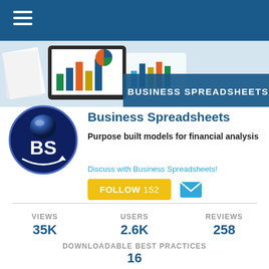[Figure (screenshot): Mobile app profile page for Business Spreadsheets showing top blue navigation bar with hamburger menu, banner with spreadsheet/chart illustrations and 'BUSINESS SPREADSHEETS' overlay, circular BS logo, company name, tagline, discuss link, follow button with count 152, and stats section showing Views 35K, Users 2.6K, Reviews 258, Downloadable Best Practices 16]
Business Spreadsheets
Purpose built models for financial analysis
Discuss with Business Spreadsheets!
FOLLOW 152
| VIEWS | USERS | REVIEWS |
| --- | --- | --- |
| 35K | 2.6K | 258 |
DOWNLOADABLE BEST PRACTICES
16